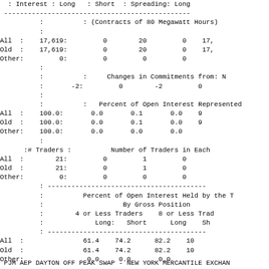|  | Open Interest | Long | Short | Spreading | Long... |
| --- | --- | --- | --- | --- | --- |
|  |  | (Contracts of 80 Megawatt Hours) |  |  |  |
| All | 17,619: | 0 | 20 | 0 | 17, |
| Old | 17,619: | 0 | 20 | 0 | 17, |
| Other: | 0: | 0 | 0 | 0 |  |
|  |  | Changes in Commitments from: N |  |  |  |
|  | -2: | 0 | -2 | 0 |  |
|  |  | Percent of Open Interest Represented |  |  |  |
| All | 100.0: | 0.0 | 0.1 | 0.0 | 9 |
| Old | 100.0: | 0.0 | 0.1 | 0.0 | 9 |
| Other: | 100.0: | 0.0 | 0.0 | 0.0 |  |
|  | :# Traders : |  | Number of Traders in Each |  |  |
| All | 21: | 0 | 1 | 0 |  |
| Old | 21: | 0 | 1 | 0 |  |
| Other: | 0: | 0 | 0 | 0 |  |
|  |  | Percent of Open Interest Held by the T |  |  |  |
|  |  | By Gross Position |  |  |  |
|  |  | 4 or Less Traders |  | 8 or Less Trad |  |
|  |  | Long: | Short | Long | Sh |
| All : |  | 61.4 | 74.2 | 82.2 | 10 |
| Old : |  | 61.4 | 74.2 | 82.2 | 10 |
| Other: |  | 0.0 | 0.0 | 0.0 |  |
PJM AEP DAYTON OFF PEAK SWAP - NEW YORK MERCANTILE EXCHAN